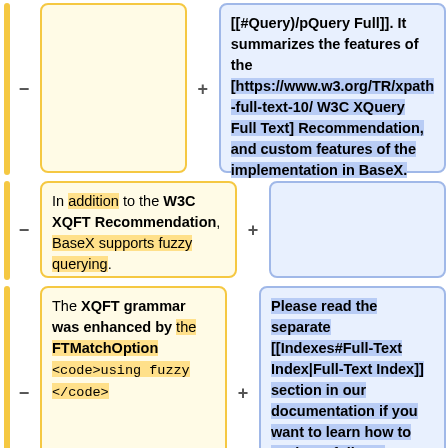[[#Query)/pQuery Full]]. It summarizes the features of the [https://www.w3.org/TR/xpath-full-text-10/ W3C XQuery Full Text] Recommendation, and custom features of the implementation in BaseX.
In addition to the W3C XQFT Recommendation, BaseX supports fuzzy querying.
The XQFT grammar was enhanced by the FTMatchOption <code>using fuzzy </code>
Please read the separate [[Indexes#Full-Text Index|Full-Text Index]] section in our documentation if you want to learn how to evaluate full-text requests on large databases within milliseconds.
to allow for approximate searches in full texts.